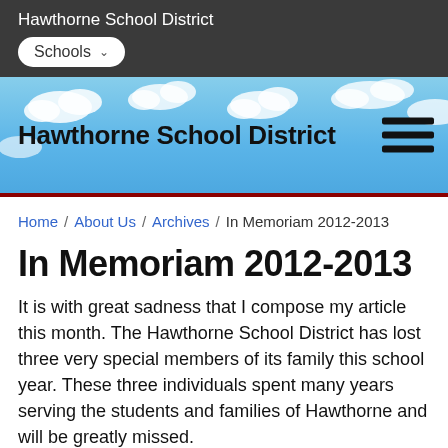Hawthorne School District
Schools
[Figure (illustration): Blue sky with white clouds banner header for Hawthorne School District website, with hamburger menu icon on the right]
Hawthorne School District
Home / About Us / Archives / In Memoriam 2012-2013
In Memoriam 2012-2013
It is with great sadness that I compose my article this month. The Hawthorne School District has lost three very special members of its family this school year. These three individuals spent many years serving the students and families of Hawthorne and will be greatly missed.